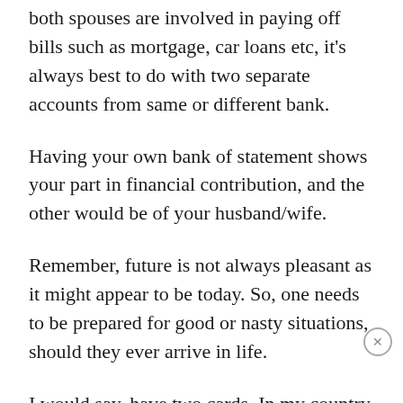both spouses are involved in paying off bills such as mortgage, car loans etc, it's always best to do with two separate accounts from same or different bank.
Having your own bank of statement shows your part in financial contribution, and the other would be of your husband/wife.
Remember, future is not always pleasant as it might appear to be today. So, one needs to be prepared for good or nasty situations, should they ever arrive in life.
I would say, have two cards. In my country (Nepal), they accept all kinds of debit/credit cards, but VISA is the easiest one to cash in as they have many VISA